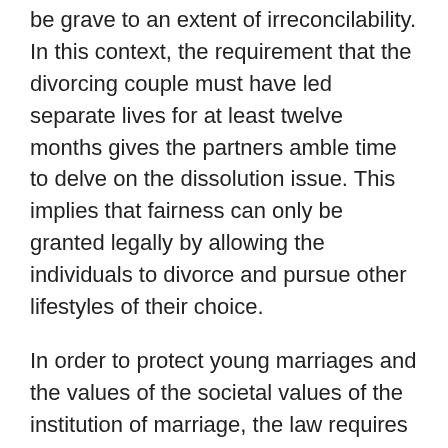be grave to an extent of irreconcilability. In this context, the requirement that the divorcing couple must have led separate lives for at least twelve months gives the partners amble time to delve on the dissolution issue. This implies that fairness can only be granted legally by allowing the individuals to divorce and pursue other lifestyles of their choice.
In order to protect young marriages and the values of the societal values of the institution of marriage, the law requires the couple to first seek professional counseling from a family expert. This provision of the law reflects the effectiveness in guarding arch societal norms such as encouraging young couples to seek reconciliatory methods before rushing to terminate their relationships. However, to guarantee protection of individual rights, the law gives marriages dissolving under special circumstances